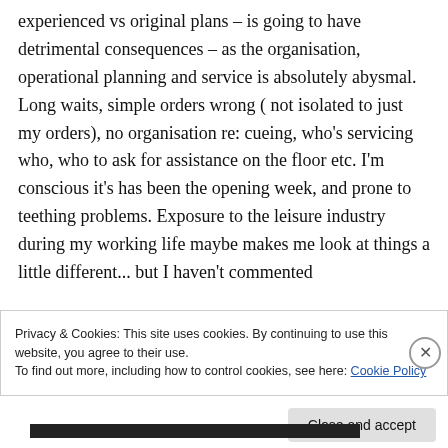experienced vs original plans – is going to have detrimental consequences – as the organisation, operational planning and service is absolutely abysmal. Long waits, simple orders wrong ( not isolated to just my orders), no organisation re: cueing, who's servicing who, who to ask for assistance on the floor etc. I'm conscious it's has been the opening week, and prone to teething problems. Exposure to the leisure industry during my working life maybe makes me look at things a little different... but I haven't commented
Privacy & Cookies: This site uses cookies. By continuing to use this website, you agree to their use.
To find out more, including how to control cookies, see here: Cookie Policy
Close and accept